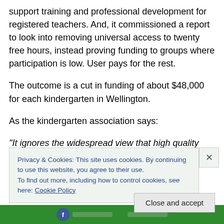support training and professional development for registered teachers. And, it commissioned a report to look into removing universal access to twenty free hours, instead proving funding to groups where participation is low. User pays for the rest.
The outcome is a cut in funding of about $48,000 for each kindergarten in Wellington.
As the kindergarten association says:
“It ignores the widespread view that high quality education,
Privacy & Cookies: This site uses cookies. By continuing to use this website, you agree to their use.
To find out more, including how to control cookies, see here: Cookie Policy